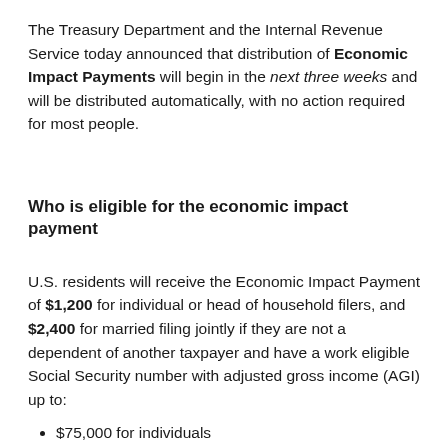The Treasury Department and the Internal Revenue Service today announced that distribution of Economic Impact Payments will begin in the next three weeks and will be distributed automatically, with no action required for most people.
Who is eligible for the economic impact payment
U.S. residents will receive the Economic Impact Payment of $1,200 for individual or head of household filers, and $2,400 for married filing jointly if they are not a dependent of another taxpayer and have a work eligible Social Security number with adjusted gross income (AGI) up to:
$75,000 for individuals
$112,000 for head of household filers and